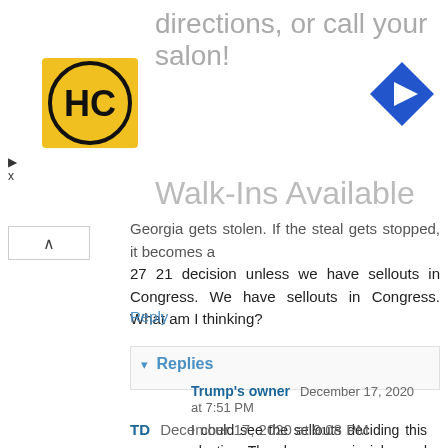[Figure (infographic): Advertisement banner with HC logo (black circle with HC initials on yellow background), navigation arrow icon (blue diamond with white right arrow), text 'directions, or call your salon!' and 'Walk-Ins Available' in gray]
Georgia gets stolen. If the steal gets stopped, it becomes a 27 21 decision unless we have sellouts in Congress. We have sellouts in Congress. What am I thinking?
Reply
▾ Replies
Trump's owner December 17, 2020 at 7:51 PM
I could see the sellouts deciding this election. They have no principles and will just vote for whomever pays$$
Reply
TD December 17, 2020 at 9:08 PM